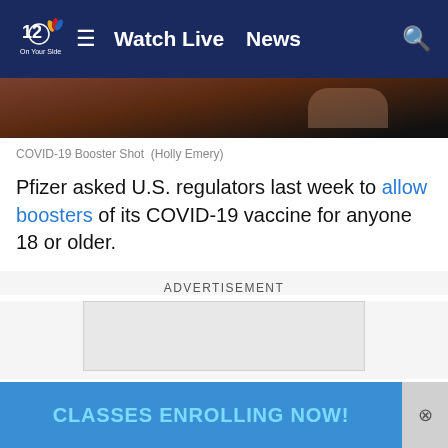NBC 12  ☰  Watch Live  News  🔍
[Figure (photo): Close-up photo of a COVID-19 booster shot being administered, showing arm and syringe against dark background]
COVID-19 Booster Shot  (Holly Emery)
Pfizer asked U.S. regulators last week to allow boosters of its COVID-19 vaccine for anyone 18 or older.
ADVERTISEMENT
[Figure (other): Advertisement placeholder box]
The Food and Drug Administration is expected to sign off on Pfizer's application before the advisory panel meets Friday.
Vacc
[Figure (other): Blue banner advertisement reading CLASSES ENROLLING NOW! with close button]